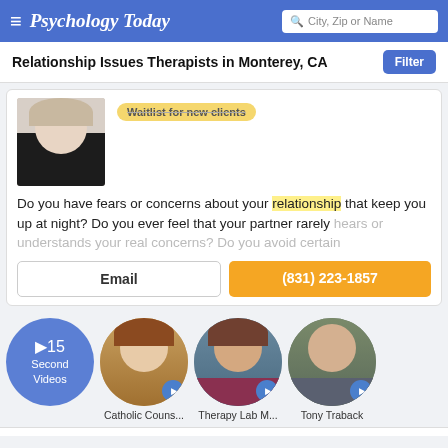Psychology Today — City, Zip or Name search bar
Relationship Issues Therapists in Monterey, CA
[Figure (photo): Partial photo of a female therapist in a black jacket, cropped to show face and upper shoulders. Waitlist badge reads 'Waitlist for new clients'.]
Do you have fears or concerns about your relationship that keep you up at night? Do you ever feel that your partner rarely hears or understands your real concerns? Do you avoid certain
Email
(831) 223-1857
[Figure (infographic): Row of 15-second video thumbnails. First circle is blue with play arrow and text '15 Second Videos'. Three circular therapist photos follow: Catholic Couns..., Therapy Lab M..., Tony Traback — each with a blue play button overlay.]
Catholic Couns...
Therapy Lab M...
Tony Traback